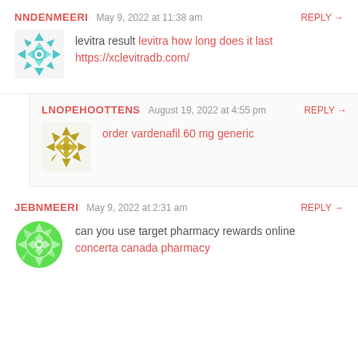NNDENMEERI  May 9, 2022 at 11:38 am  REPLY →
[Figure (illustration): Teal/cyan geometric mandala-style avatar icon]
levitra result levitra how long does it last https://xclevitradb.com/
LNOPEHOOTTENS  August 19, 2022 at 4:55 pm  REPLY →
[Figure (illustration): Gold/olive geometric mandala-style avatar icon]
order vardenafil 60 mg generic
JEBNMEERI  May 9, 2022 at 2:31 am  REPLY →
[Figure (illustration): Green geometric mandala-style avatar icon]
can you use target pharmacy rewards online concerta canada pharmacy